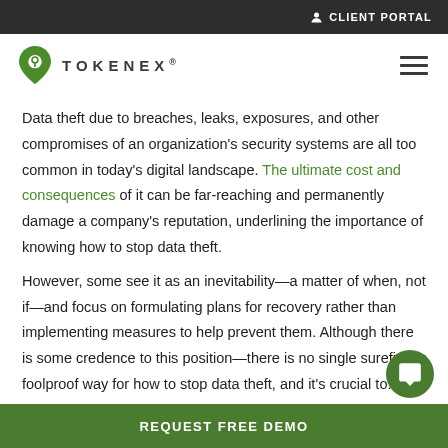CLIENT PORTAL
[Figure (logo): TokenEx logo with shield icon and company name]
Data theft due to breaches, leaks, exposures, and other compromises of an organization's security systems are all too common in today's digital landscape. The ultimate cost and consequences of it can be far-reaching and permanently damage a company's reputation, underlining the importance of knowing how to stop data theft.
However, some see it as an inevitability—a matter of when, not if—and focus on formulating plans for recovery rather than implementing measures to help prevent them. Although there is some credence to this position—there is no single surefire or foolproof way for how to stop data theft, and it's crucial to...
REQUEST FREE DEMO